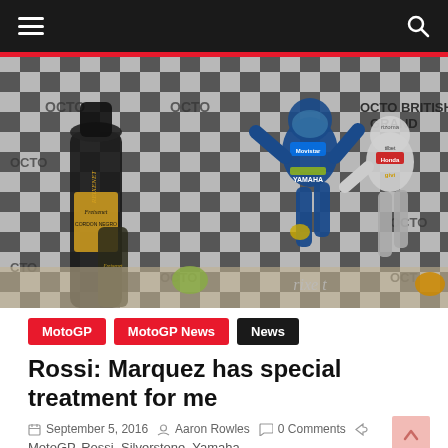Navigation bar with hamburger menu and search icon
[Figure (photo): MotoGP podium celebration at the OCTO British Grand Prix. A rider in blue Yamaha livery (Rossi) celebrates on the podium while another rider in white/black Honda livery (Marquez) stands nearby. A large Freixenet champagne bottle is visible on the left. Checkered flag backdrop with OCTO branding.]
MotoGP
MotoGP News
News
Rossi: Marquez has special treatment for me
September 5, 2016  Aaron Rowles  0 Comments
MotoGP, Rossi, Silverstone, Yamaha